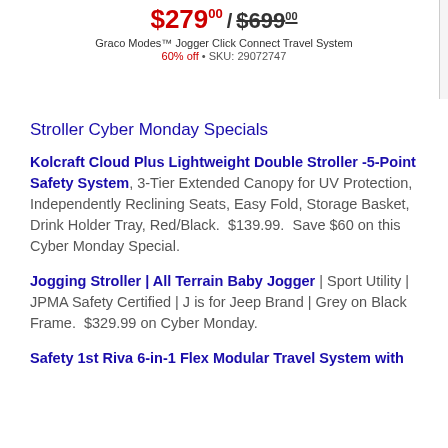[Figure (other): Product price display showing $279 sale price crossed out $699 original price for Graco Modes Jogger Click Connect Travel System, 60% off, SKU 29072747]
Stroller Cyber Monday Specials
Kolcraft Cloud Plus Lightweight Double Stroller -5-Point Safety System, 3-Tier Extended Canopy for UV Protection, Independently Reclining Seats, Easy Fold, Storage Basket, Drink Holder Tray, Red/Black.  $139.99.  Save $60 on this Cyber Monday Special.
Jogging Stroller | All Terrain Baby Jogger | Sport Utility | JPMA Safety Certified | J is for Jeep Brand | Grey on Black Frame.  $329.99 on Cyber Monday.
Safety 1st Riva 6-in-1 Flex Modular Travel System with